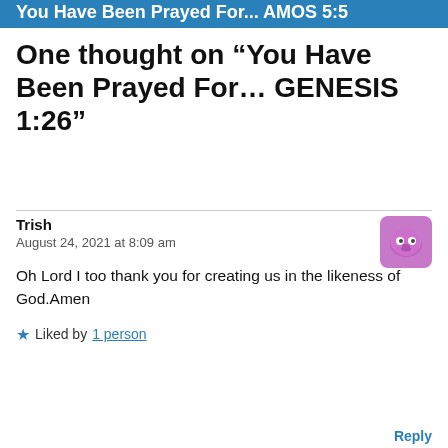You Have Been Prayed For... AMOS 5:5
One thought on “You Have Been Prayed For... GENESIS 1:26”
Trish
August 24, 2021 at 8:09 am
Oh Lord I too thank you for creating us in the likeness of God.Amen
★ Liked by 1 person
Reply